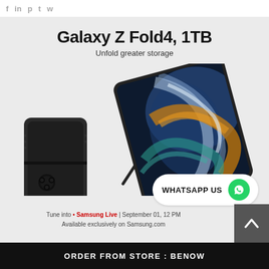f  in  p  t  w
Galaxy Z Fold4, 1TB
Unfold greater storage
[Figure (photo): Samsung Galaxy Z Fold4 1TB smartphone shown folded closed (back view with triple camera) and open (front view showing colorful swirl wallpaper), with S Pen stylus leaning against it]
[Figure (other): WHATSAPP US button with green WhatsApp icon on white pill-shaped background]
Tune into • Samsung Live | September 01, 12 PM
Available exclusively on Samsung.com
ORDER FROM STORE : BENOW